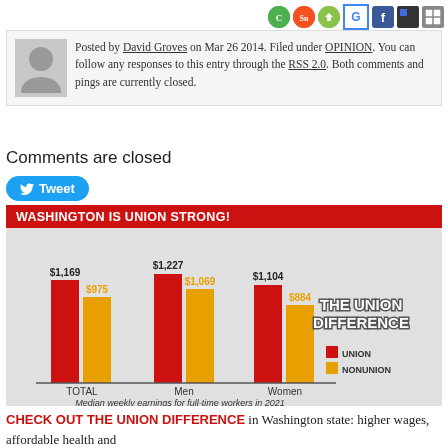Social sharing icons: WeChat, StumbleUpon, Android, Google+, Facebook, Delicious, QR
Posted by David Groves on Mar 26 2014. Filed under OPINION. You can follow any responses to this entry through the RSS 2.0. Both comments and pings are currently closed.
Comments are closed
Tweet
WASHINGTON IS UNION STRONG!
[Figure (grouped-bar-chart): The Union Difference]
CHECK OUT THE UNION DIFFERENCE in Washington state: higher wages, affordable health and